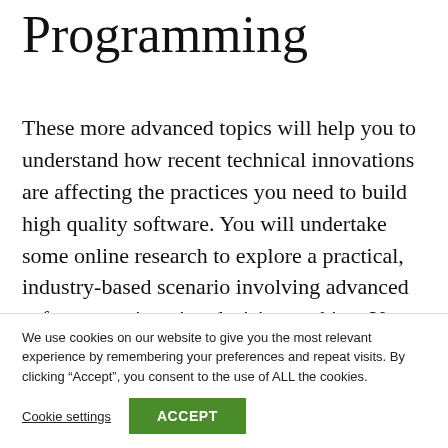Programming
These more advanced topics will help you to understand how recent technical innovations are affecting the practices you need to build high quality software. You will undertake some online research to explore a practical, industry-based scenario involving advanced software engineering decision-making. You will have to think about the
We use cookies on our website to give you the most relevant experience by remembering your preferences and repeat visits. By clicking “Accept”, you consent to the use of ALL the cookies.
Cookie settings   ACCEPT